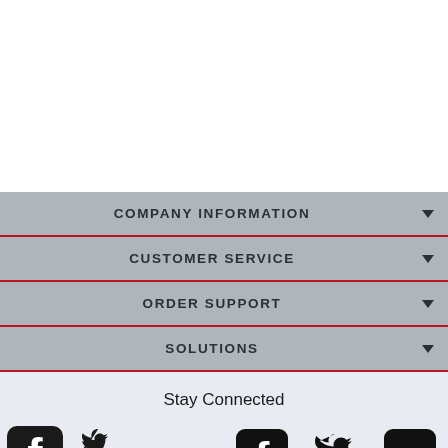COMPANY INFORMATION
CUSTOMER SERVICE
ORDER SUPPORT
SOLUTIONS
Stay Connected
[Figure (illustration): Social media icons: Facebook, Twitter, LinkedIn]